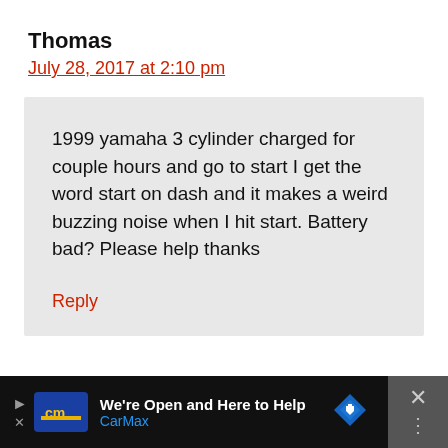Thomas
July 28, 2017 at 2:10 pm
1999 yamaha 3 cylinder charged for couple hours and go to start I get the word start on dash and it makes a weird buzzing noise when I hit start. Battery bad? Please help thanks
Reply
We're Open and Here to Help CarMax